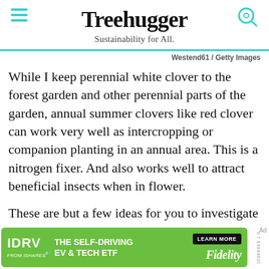Treehugger — Sustainability for All.
Westend61 / Getty Images
While I keep perennial white clover to the forest garden and other perennial parts of the garden, annual summer clovers like red clover can work very well as intercropping or companion planting in an annual area. This is a nitrogen fixer. And also works well to attract beneficial insects when in flower.
These are but a few ideas for you to investigate further, there are plenty of other options – and companion planting is definitely not an exact science. But why not experiment to see which flowers work well among the
[Figure (other): Advertisement banner: IDRV from iShares — The Self-Driving EV & Tech ETF — Learn More — Fidelity]